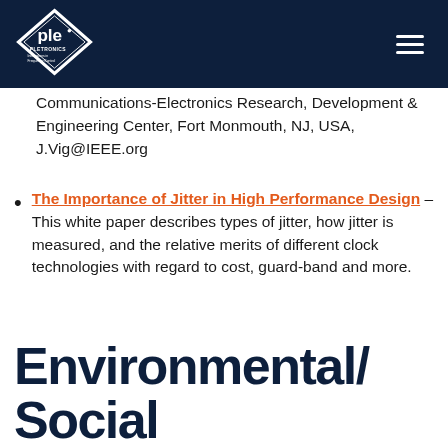[Figure (logo): Pletronics logo — diamond shape with 'ple' text and 'PLETRONICS Innovations in Frequency Control' text, white on dark navy background]
Communications-Electronics Research, Development & Engineering Center, Fort Monmouth, NJ, USA, J.Vig@IEEE.org
The Importance of Jitter in High Performance Design – This white paper describes types of jitter, how jitter is measured, and the relative merits of different clock technologies with regard to cost, guard-band and more.
Environmental/ Social